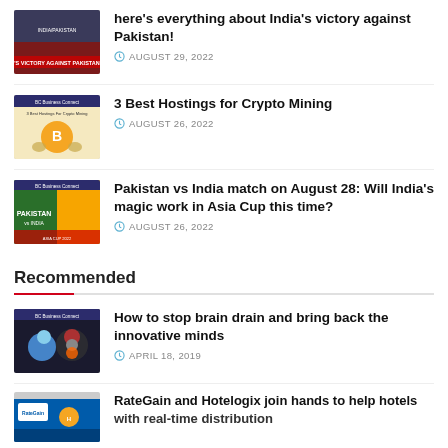[Figure (photo): Thumbnail image: India vs Pakistan cricket, text 'S VICTORY AGAINST PAKISTAN']
here's everything about India's victory against Pakistan!
AUGUST 29, 2022
[Figure (photo): Thumbnail image: BC Business Connect, 3 Best Hostings For Crypto Mining, Bitcoin logo]
3 Best Hostings for Crypto Mining
AUGUST 26, 2022
[Figure (photo): Thumbnail image: BC Business Connect, Pakistan vs India match]
Pakistan vs India match on August 28: Will India's magic work in Asia Cup this time?
AUGUST 26, 2022
Recommended
[Figure (photo): Thumbnail image: BC Business Connect, brain drain, innovative minds]
How to stop brain drain and bring back the innovative minds
APRIL 18, 2019
[Figure (photo): Thumbnail image: RateGain and Hotelogix logos]
RateGain and Hotelogix join hands to help hotels with real-time distribution